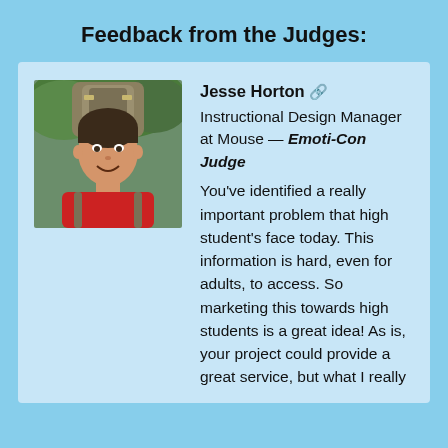Feedback from the Judges:
[Figure (photo): Headshot of Jesse Horton, a young man wearing a red shirt and carrying a large backpack, outdoors with greenery in background.]
Jesse Horton 🔗
Instructional Design Manager at Mouse — Emoti-Con Judge
You've identified a really important problem that high student's face today. This information is hard, even for adults, to access. So marketing this towards high students is a great idea! As is, your project could provide a great service, but what I really